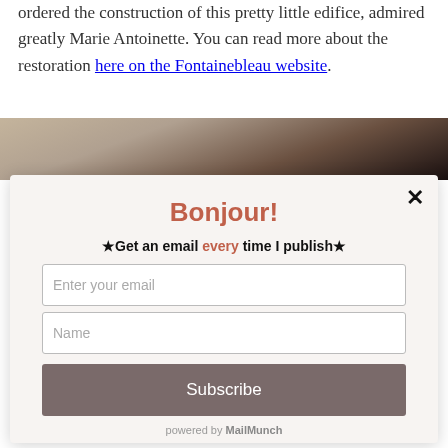ordered the construction of this pretty little edifice, admired greatly Marie Antoinette. You can read more about the restoration here on the Fontainebleau website.
[Figure (photo): Partial view of a decorative photo strip showing patterned wallpaper and a dark rounded object]
× Bonjour! ★Get an email every time I publish★ Enter your email Name Subscribe powered by MailMunch